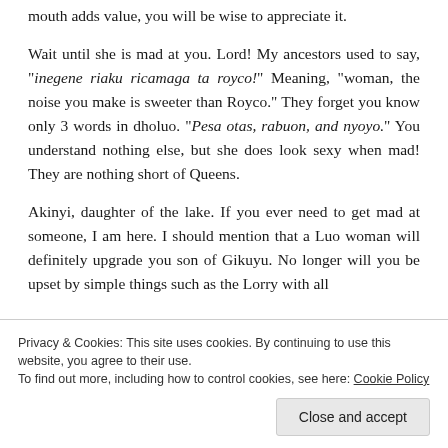mouth adds value, you will be wise to appreciate it.

Wait until she is mad at you. Lord! My ancestors used to say, "inegene riaku ricamaga ta royco!" Meaning, "woman, the noise you make is sweeter than Royco." They forget you know only 3 words in dholuo. "Pesa otas, rabuon, and nyoyo." You understand nothing else, but she does look sexy when mad! They are nothing short of Queens.

Akinyi, daughter of the lake. If you ever need to get mad at someone, I am here. I should mention that a Luo woman will definitely upgrade you son of Gikuyu. No longer will you be upset by simple things such as the Lorry with all
Privacy & Cookies: This site uses cookies. By continuing to use this website, you agree to their use.
To find out more, including how to control cookies, see here: Cookie Policy